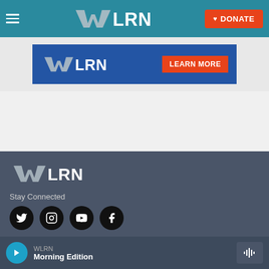WLRN — navigation header with hamburger menu, WLRN logo, and DONATE button
[Figure (screenshot): WLRN banner advertisement with blue background, WLRN logo and LEARN MORE button in orange]
[Figure (logo): WLRN logo in white on dark slate footer]
Stay Connected
[Figure (infographic): Social media icons: Twitter, Instagram, YouTube, Facebook — white icons on black circles]
© 2022 WLRN
WLRN
Morning Edition